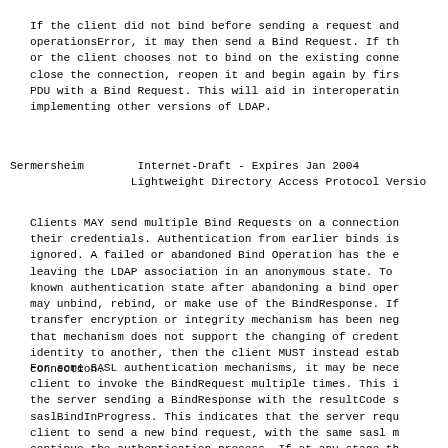If the client did not bind before sending a request and operationsError, it may then send a Bind Request. If th or the client chooses not to bind on the existing conne close the connection, reopen it and begin again by firs PDU with a Bind Request. This will aid in interoperatin implementing other versions of LDAP.
Sermersheim        Internet-Draft - Expires Jan 2004
                   Lightweight Directory Access Protocol Versio
Clients MAY send multiple Bind Requests on a connection their credentials. Authentication from earlier binds is ignored. A failed or abandoned Bind Operation has the e leaving the LDAP association in an anonymous state. To known authentication state after abandoning a bind oper may unbind, rebind, or make use of the BindResponse. If transfer encryption or integrity mechanism has been neg that mechanism does not support the changing of credent identity to another, then the client MUST instead estab connection.
For some SASL authentication mechanisms, it may be nece client to invoke the BindRequest multiple times. This i the server sending a BindResponse with the resultCode s saslBindInProgress. This indicates that the server requ client to send a new bind request, with the same sasl m continue the authentication process. If at any stage th